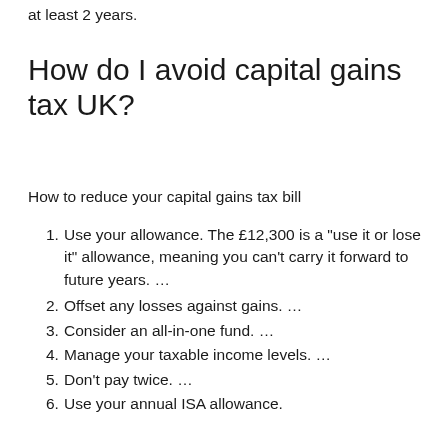at least 2 years.
How do I avoid capital gains tax UK?
How to reduce your capital gains tax bill
Use your allowance. The £12,300 is a “use it or lose it” allowance, meaning you can’t carry it forward to future years. …
Offset any losses against gains. …
Consider an all-in-one fund. …
Manage your taxable income levels. …
Don’t pay twice. …
Use your annual ISA allowance.